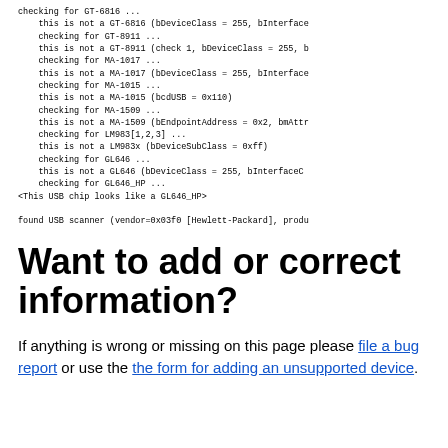checking for GT-6816 ...
    this is not a GT-6816 (bDeviceClass = 255, bInterface
    checking for GT-8911 ...
    this is not a GT-8911 (check 1, bDeviceClass = 255, b
    checking for MA-1017 ...
    this is not a MA-1017 (bDeviceClass = 255, bInterface
    checking for MA-1015 ...
    this is not a MA-1015 (bcdUSB = 0x110)
    checking for MA-1509 ...
    this is not a MA-1509 (bEndpointAddress = 0x2, bmAttr
    checking for LM983[1,2,3] ...
    this is not a LM983x (bDeviceSubClass = 0xff)
    checking for GL646 ...
    this is not a GL646 (bDeviceClass = 255, bInterfaceC
    checking for GL646_HP ...
<This USB chip looks like a GL646_HP>

found USB scanner (vendor=0x03f0 [Hewlett-Packard], produ
Want to add or correct information?
If anything is wrong or missing on this page please file a bug report or use the the form for adding an unsupported device.